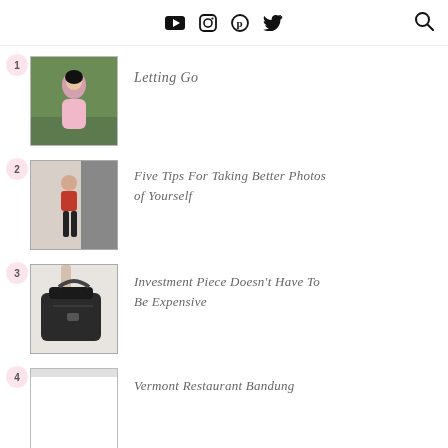YouTube Instagram Pinterest Twitter [Search]
1. Letting Go
2. Five Tips For Taking Better Photos of Yourself
3. Investment Piece Doesn't Have To Be Expensive
4. Vermont Restaurant Bandung